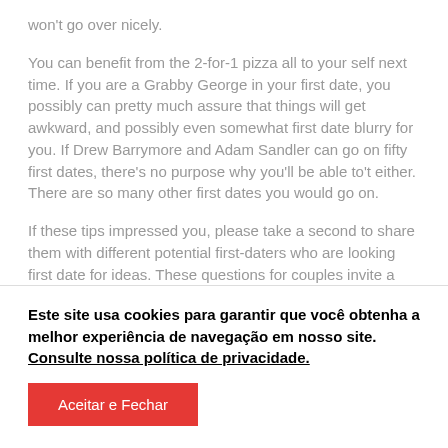won't go over nicely.
You can benefit from the 2-for-1 pizza all to your self next time. If you are a Grabby George in your first date, you possibly can pretty much assure that things will get awkward, and possibly even somewhat first date blurry for you. If Drew Barrymore and Adam Sandler can go on fifty first dates, there's no purpose why you'll be able to't either. There are so many other first dates you would go on.
If these tips impressed you, please take a second to share them with different potential first-daters who are looking first date for ideas. These questions for couples invite a
Este site usa cookies para garantir que você obtenha a melhor experiência de navegação em nosso site. Consulte nossa política de privacidade.
Aceitar e Fechar